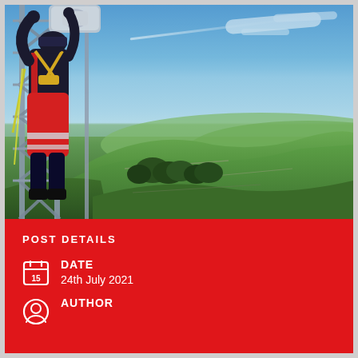[Figure (photo): A worker in red and black high-visibility safety gear climbing a steel telecommunications tower, high above a scenic rural landscape with green rolling hills, fields, trees, and a blue sky with white clouds and a contrail.]
POST DETAILS
DATE
24th July 2021
AUTHOR